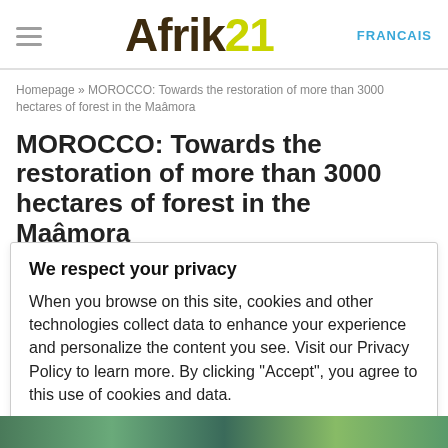Afrik 21 | FRANCAIS
Homepage » MOROCCO: Towards the restoration of more than 3000 hectares of forest in the Maâmora
MOROCCO: Towards the restoration of more than 3000 hectares of forest in the Maâmora
We respect your privacy
When you browse on this site, cookies and other technologies collect data to enhance your experience and personalize the content you see. Visit our Privacy Policy to learn more. By clicking "Accept", you agree to this use of cookies and data.
Accept